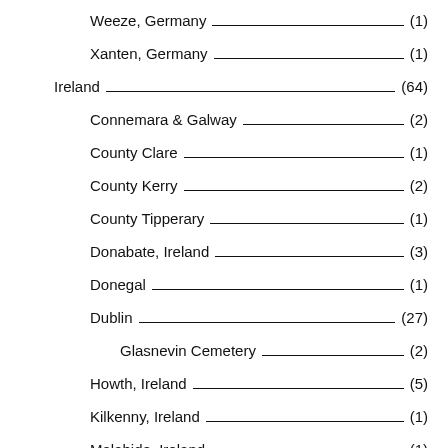Weeze, Germany (1)
Xanten, Germany (1)
Ireland (64)
Connemara & Galway (2)
County Clare (1)
County Kerry (2)
County Tipperary (1)
Donabate, Ireland (3)
Donegal (1)
Dublin (27)
Glasnevin Cemetery (2)
Howth, Ireland (5)
Kilkenny, Ireland (1)
Malahide, Ireland (1)
Museums in Ireland (4)